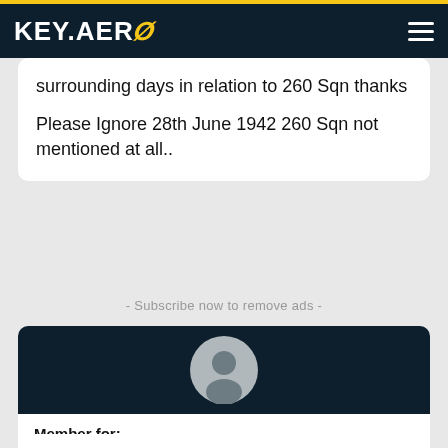KEY.AERO
surrounding days in relation to 260 Sqn thanks

Please Ignore 28th June 1942 260 Sqn not mentioned at all..
- Subscribe now to remove ads -
[Figure (illustration): User avatar icon: generic person silhouette in a grey circle on a dark navy background]
Member for:
12 years
Posts: 83
Send private message